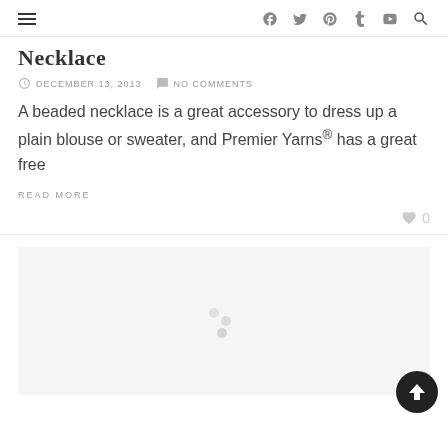≡  f  t  ⊕  t  ▶  🔍
Necklace
DECEMBER 13, 2013   NO COMMENTS
A beaded necklace is a great accessory to dress up a plain blouse or sweater, and Premier Yarns® has a great free
READ MORE
♥ 0
[Figure (photo): Loading placeholder image area with spinning dots indicator and a dark circular back-to-top arrow button in the bottom right]